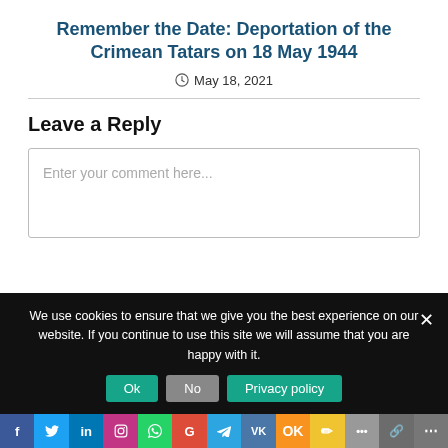Remember the Date: Deportation of the Crimean Tatars on 18 May 1944
May 18, 2021
Leave a Reply
Enter your comment here...
We use cookies to ensure that we give you the best experience on our website. If you continue to use this site we will assume that you are happy with it.
Ok  No  Privacy policy